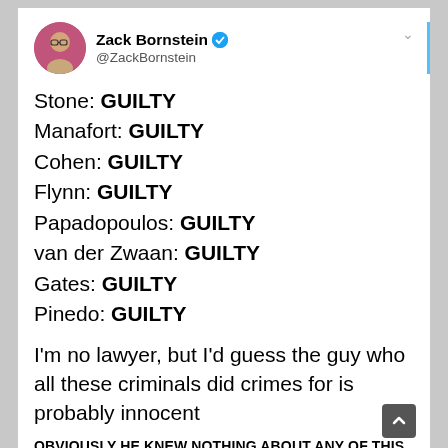[Figure (screenshot): Twitter/X profile avatar: circular photo of a man with glasses against a pink/magenta background]
Zack Bornstein ✓ @ZackBornstein
Stone: GUILTY
Manafort: GUILTY
Cohen: GUILTY
Flynn: GUILTY
Papadopoulos: GUILTY
van der Zwaan: GUILTY
Gates: GUILTY
Pinedo: GUILTY
I'm no lawyer, but I'd guess the guy who all these criminals did crimes for is probably innocent
OBVIOUSLY HE KNEW NOTHING ABOUT ANY OF THIS